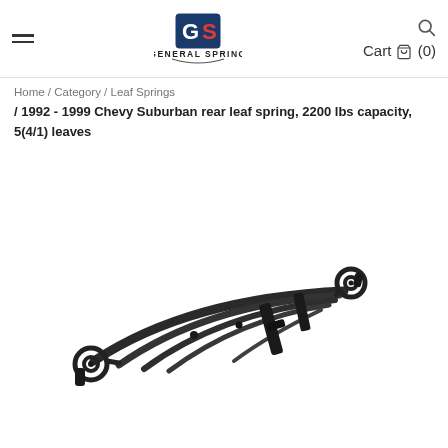General Spring — Cart (0)
Home / Category / Leaf Springs / 1992 - 1999 Chevy Suburban rear leaf spring, 2200 lbs capacity, 5(4/1) leaves
[Figure (photo): A black automotive rear leaf spring assembly with eye bolts on each end and multiple stacked leaves, displayed on a white background.]